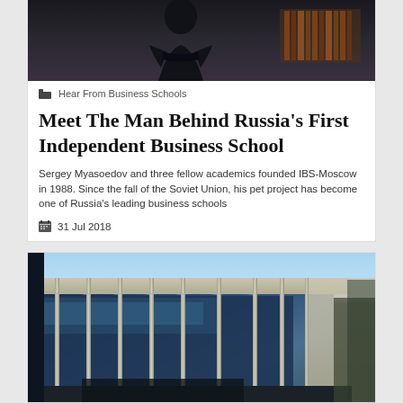[Figure (photo): Photo of a man in a dark suit seated with arms crossed, in an office setting with bookshelves in the background]
Hear From Business Schools
Meet The Man Behind Russia's First Independent Business School
Sergey Myasoedov and three fellow academics founded IBS-Moscow in 1988. Since the fall of the Soviet Union, his pet project has become one of Russia's leading business schools
31 Jul 2018
[Figure (photo): Photo of a modern glass-and-steel building exterior, likely the IBS-Moscow campus, with tall vertical pillars and glass facade under a clear sky]